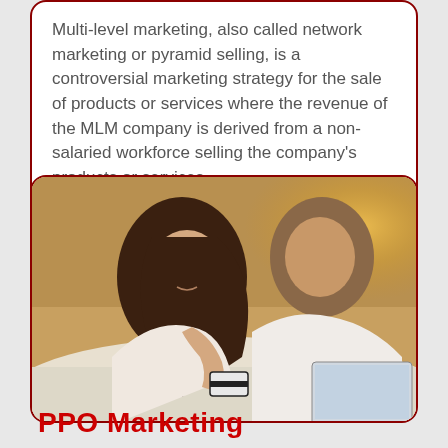Multi-level marketing, also called network marketing or pyramid selling, is a controversial marketing strategy for the sale of products or services where the revenue of the MLM company is derived from a non-salaried workforce selling the company's products or services.
[Figure (photo): A young couple lying on a bed looking at a laptop; the woman holds a credit card and smiles while the man looks at the screen.]
PPO Marketing